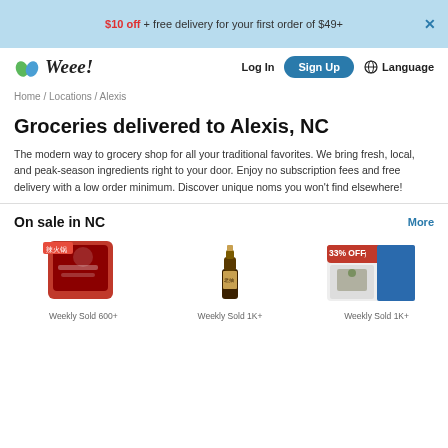$10 off + free delivery for your first order of $49+
[Figure (logo): Weee! grocery delivery service logo with green leaf icon]
Home / Locations / Alexis
Groceries delivered to Alexis, NC
The modern way to grocery shop for all your traditional favorites. We bring fresh, local, and peak-season ingredients right to your door. Enjoy no subscription fees and free delivery with a low order minimum. Discover unique noms you won't find elsewhere!
On sale in NC
[Figure (photo): Product image: spice/hot pot seasoning bag, Weekly Sold 600+]
[Figure (photo): Product image: dark soy sauce bottle, Weekly Sold 1K+]
[Figure (photo): Product image: Mori-Nu Tofu with 33% OFF badge, Weekly Sold 1K+]